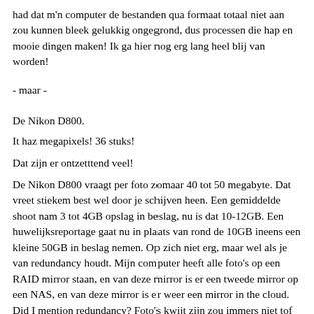had dat m'n computer de bestanden qua formaat totaal niet aan zou kunnen bleek gelukkig ongegrond, dus processen die hap en mooie dingen maken! Ik ga hier nog erg lang heel blij van worden!
- maar -
De Nikon D800.
It haz megapixels! 36 stuks!
Dat zijn er ontzetttend veel!
De Nikon D800 vraagt per foto zomaar 40 tot 50 megabyte. Dat vreet stiekem best wel door je schijven heen. Een gemiddelde shoot nam 3 tot 4GB opslag in beslag, nu is dat 10-12GB. Een huwelijksreportage gaat nu in plaats van rond de 10GB ineens een kleine 50GB in beslag nemen. Op zich niet erg, maar wel als je van redundancy houdt. Mijn computer heeft alle foto's op een RAID mirror staan, en van deze mirror is er een tweede mirror op een NAS, en van deze mirror is er weer een mirror in the cloud. Did I mention redundancy? Foto's kwijt zijn zou immers niet tof zijn.
Maar: een foto is echter niet af met de RAW file. Ik bewerk foto's